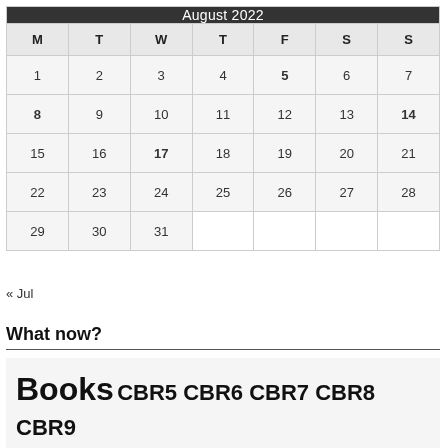| M | T | W | T | F | S | S |
| --- | --- | --- | --- | --- | --- | --- |
| 1 | 2 | 3 | 4 | 5 | 6 | 7 |
| 8 | 9 | 10 | 11 | 12 | 13 | 14 |
| 15 | 16 | 17 | 18 | 19 | 20 | 21 |
| 22 | 23 | 24 | 25 | 26 | 27 | 28 |
| 29 | 30 | 31 |  |  |  |  |
« Jul
What now?
Books CBR5 CBR6 CBR7 CBR8 CBR9 CBR10 CBR11 CBR12 CBR13 CBR14 Danville Education England Entertainment Fiction Food Friends Grad School Health Holidays Ireland Life London Memoir Move Movies Music Non-Fiction NYC Philosophy Pics Politics Recreation Religion Running Science Seattle